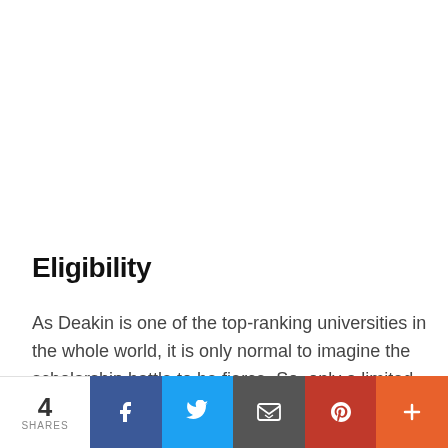Eligibility
As Deakin is one of the top-ranking universities in the whole world, it is only normal to imagine the scholarship battle to be fierce. So, only a limited number of students get scholarships.
However, Deakin tries its best to assist the deserving students financially to make their dream of good education
4 SHARES [Facebook] [Twitter] [Email] [Pinterest] [More]